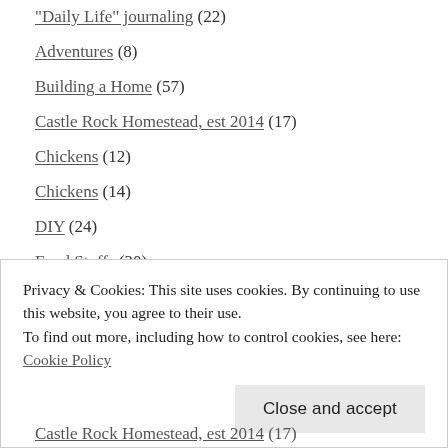"Daily Life" journaling (22)
Adventures (8)
Building a Home (57)
Castle Rock Homestead, est 2014 (17)
Chickens (12)
Chickens (14)
DIY (24)
Food Stuffs (20)
Foraging/Wild Harvesting (7)
Garden (6)
Homemaking (27)
Homestead Life (17)
Privacy & Cookies: This site uses cookies. By continuing to use this website, you agree to their use. To find out more, including how to control cookies, see here: Cookie Policy
Castle Rock Homestead, est 2014 (partial, bottom)